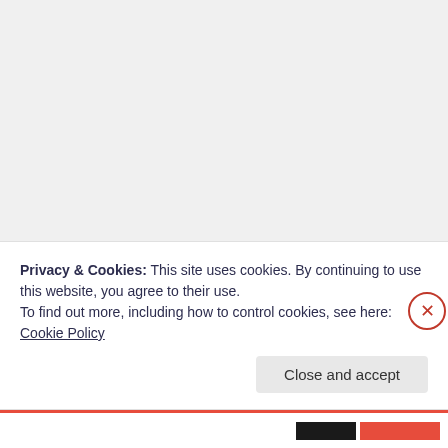“Dirtbag”
Privacy & Cookies: This site uses cookies. By continuing to use this website, you agree to their use.
To find out more, including how to control cookies, see here: Cookie Policy
Close and accept